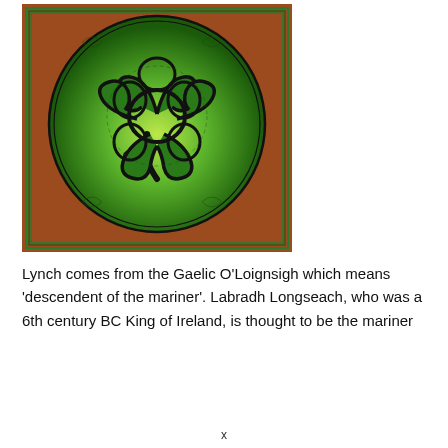[Figure (illustration): Celtic shamrock knot illustration on a brownish-orange background with a green border. A circular Celtic knotwork design featuring an interlaced shamrock/four-leaf clover pattern in black outline on a radial green gradient. Decorative Celtic knotwork border surrounds the outer edges of the square image.]
Lynch comes from the Gaelic O'Loignsigh which means 'descendent of the mariner'. Labradh Longseach, who was a 6th century BC King of Ireland, is thought to be the mariner
x